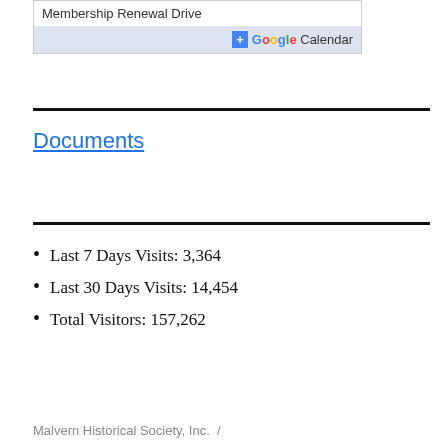[Figure (screenshot): Google Calendar widget showing 'Membership Renewal Drive' event with a blue '+Google Calendar' button]
Documents
Last 7 Days Visits: 3,364
Last 30 Days Visits: 14,454
Total Visitors: 157,262
Malvern Historical Society, Inc.  /